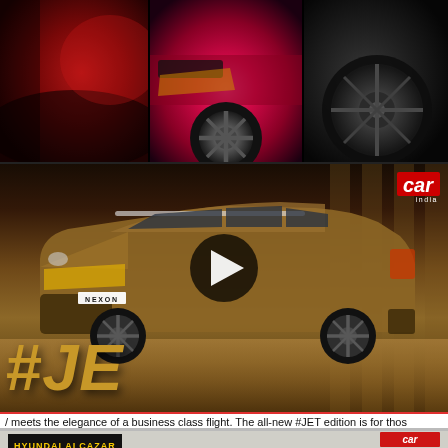[Figure (photo): Top collage of three car detail photos: left shows dark red car body/door, center shows red/pink car front bumper and alloy wheel, right shows dark car wheel/tire detail]
[Figure (screenshot): Video thumbnail of Tata Nexon JET edition in bronze/brown color on display, with #JET text overlay in gold, Car India logo in red top-right, and a play button in center]
/ meets the elegance of a business class flight. The all-new #JET edition is for thos
[Figure (screenshot): Video thumbnail for Hyundai Alcazar Explores Punjab India's Heartland, with Car India logo top-right, title in black box with yellow text HYUNDAI ALCAZAR, subtitle Explores Punjab India's Heartland, and play button]